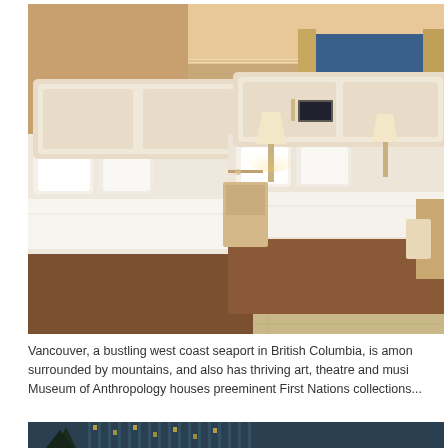[Figure (photo): Hotel room interior with two double beds with white linens, warm beige walls and carpet, bedside lamps, and a large floor-to-ceiling window with a city view at dusk showing downtown Vancouver skyline. A desk and chairs are visible on the right side.]
Vancouver, a bustling west coast seaport in British Columbia, is amon... surrounded by mountains, and also has thriving art, theatre and musi... Museum of Anthropology houses preeminent First Nations collections...
[Figure (photo): Partial view of a hotel or building exterior at night/dusk with glass facade, trees visible on the left side.]